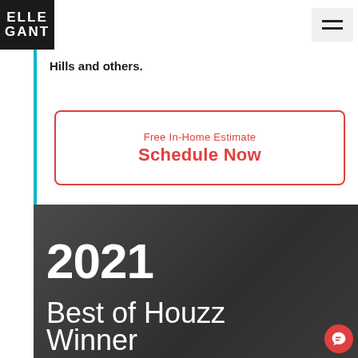ELLE GANT (logo) | hamburger menu
Hills and others.
Free In-Home Estimate
Schedule Now
[Figure (photo): 2021 Best of Houzz Winner award badge with hexagonal stone tiles in the background on a dark slate surface]